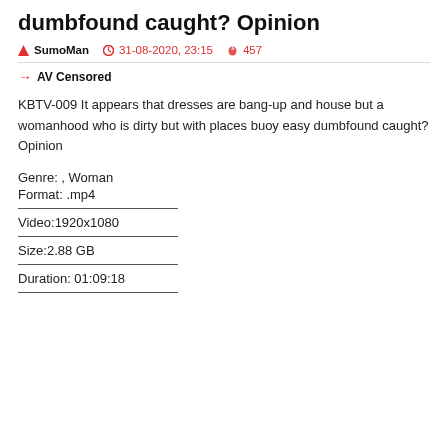dumbfound caught? Opinion
SumoMan  31-08-2020, 23:15  457
→ AV Censored
KBTV-009 It appears that dresses are bang-up and house but a womanhood who is dirty but with places buoy easy dumbfound caught? Opinion
Genre: , Woman
Format: .mp4
Video:1920x1080
Size:2.88 GB
Duration: 01:09:18